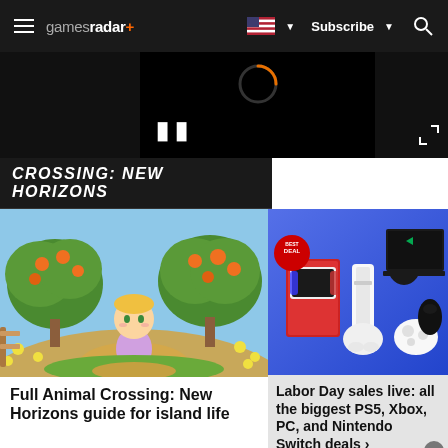gamesradar+ | Subscribe | Search
[Figure (screenshot): Video player with loading spinner and pause button on dark background]
CROSSING: NEW HORIZONS
[Figure (screenshot): Animal Crossing: New Horizons game screenshot showing a character on an island path with orange trees]
Full Animal Crossing: New Horizons guide for island life
[Figure (screenshot): Best Deal badge with PS5, Nintendo Switch, Xbox controller, gaming mouse, and laptop on blue background]
Labor Day sales live: all the biggest PS5, Xbox, PC, and Nintendo Switch deals >